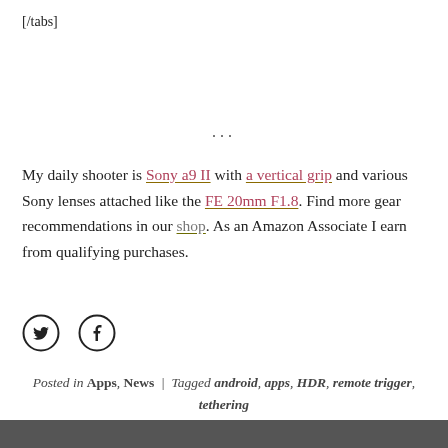[/tabs]
...
My daily shooter is Sony a9 II with a vertical grip and various Sony lenses attached like the FE 20mm F1.8. Find more gear recommendations in our shop. As an Amazon Associate I earn from qualifying purchases.
[Figure (illustration): Twitter bird icon and Facebook circle icon (social share buttons)]
Posted in Apps, News | Tagged android, apps, HDR, remote trigger, tethering